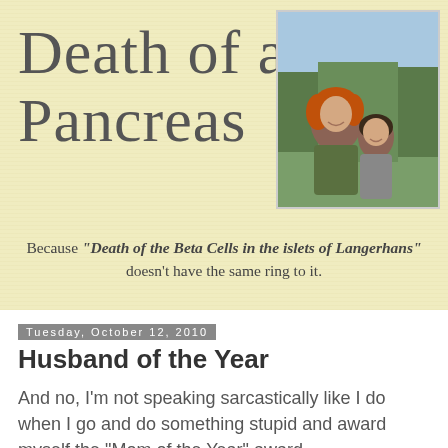Death of a Pancreas
[Figure (photo): Photo of a woman with red hair and a young child, outdoors with trees in background]
Because "Death of the Beta Cells in the islets of Langerhans" doesn't have the same ring to it.
Tuesday, October 12, 2010
Husband of the Year
And no, I'm not speaking sarcastically like I do when I go and do something stupid and award myself the "Mom of the Year" award.
About a week ago, when I had that awful day